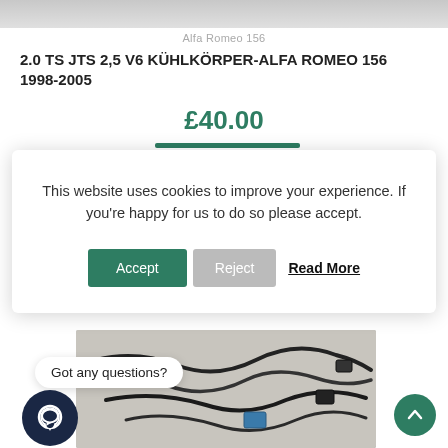[Figure (photo): Top partial product image, grey/beige background]
Alfa Romeo 156
2.0 TS JTS 2.5 V6 KÜHLKÖRPER-ALFA ROMEO 156 1998-2005
£40.00
This website uses cookies to improve your experience. If you're happy for us to do so please accept.
Accept  Reject  Read More
[Figure (photo): Car wiring harness/cables on grey surface]
Got any questions?